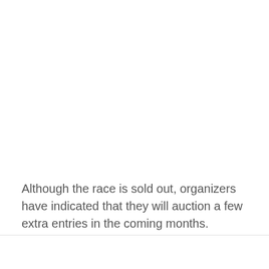Although the race is sold out, organizers have indicated that they will auction a few extra entries in the coming months.